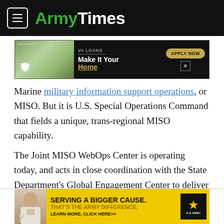ArmyTimes
[Figure (infographic): VA Loans advertisement banner: Make It Your Home. Apply Now button. Fair Housing logo.]
Marine military information support operations, or MISO. But it is U.S. Special Operations Command that fields a unique, trans-regional MISO capability.
The Joint MISO WebOps Center is operating today, and acts in close coordination with the State Department’s Global Engagement Center to deliver messages that counter propaganda from both state and non-state actors.
[Figure (infographic): Army advertisement: SERVING A BIGGER CAUSE. THAT'S THE ARMY DIFFERENCE. LEARN MORE, CLICK HERE. U.S. Army logo with star.]